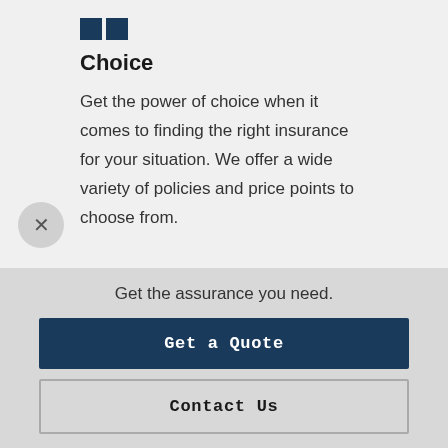Choice
Get the power of choice when it comes to finding the right insurance for your situation. We offer a wide variety of policies and price points to choose from.
[Figure (illustration): Two overlapping speech bubble icons with horizontal lines representing text, drawn in dark navy blue outline style]
Get the assurance you need.
Get a Quote
Contact Us